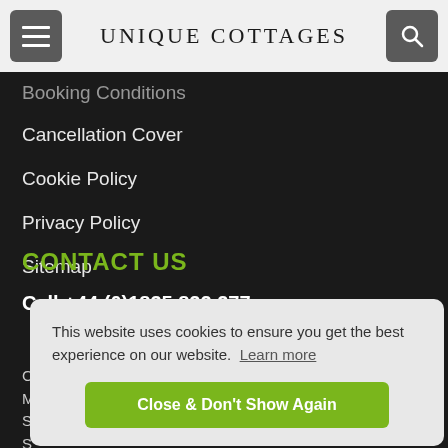UNIQUE COTTAGES
Booking Conditions
Cancellation Cover
Cookie Policy
Privacy Policy
Sitemap
CONTACT US
Call +44 (0)1835 822 277
This website uses cookies to ensure you get the best experience on our website. Learn more
Close & Don't Show Again